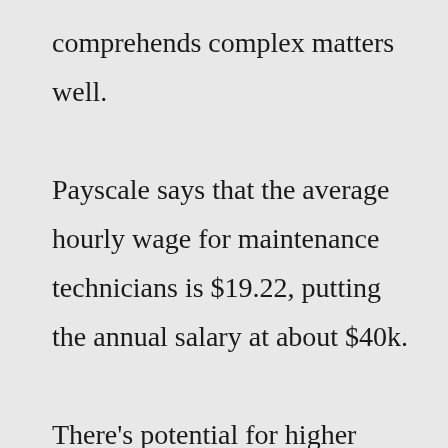comprehends complex matters well. Payscale says that the average hourly wage for maintenance technicians is $19.22, putting the annual salary at about $40k. There's potential for higher earnings with bonuses and overtime. Salary.com suggests that the average installation and maintenance technician salary is just over $59k/year .Did you know that 88% of consumers trust reviews as much as